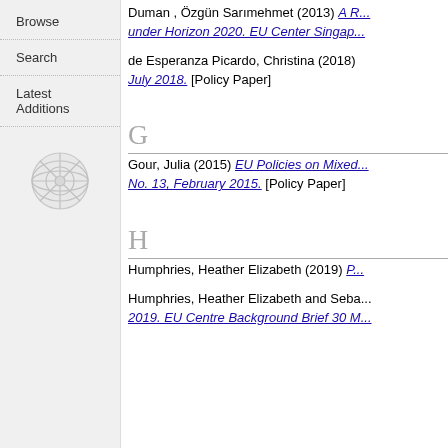Browse
Search
Latest Additions
[Figure (logo): Snowflake/globe decorative logo in sidebar]
Duman , Özgün Sarımehmet (2013) A R... under Horizon 2020. EU Center Singap...
de Esperanza Picardo, Christina (2018) ... July 2018. [Policy Paper]
G
Gour, Julia (2015) EU Policies on Mixed... No. 13, February 2015. [Policy Paper]
H
Humphries, Heather Elizabeth (2019) P...
Humphries, Heather Elizabeth and Seba... 2019. EU Centre Background Brief 30 M...